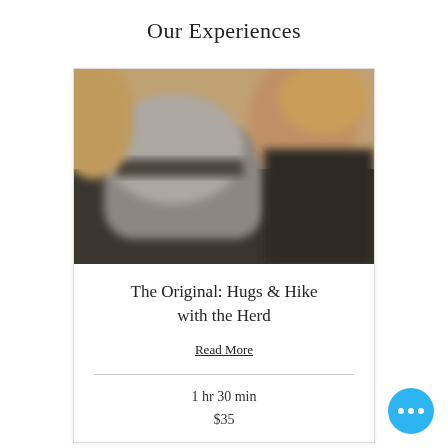Our Experiences
[Figure (photo): Blurred close-up photo of a person hugging or holding a goat/animal, outdoors, warm tones]
The Original: Hugs & Hike with the Herd
Read More
1 hr 30 min
$35